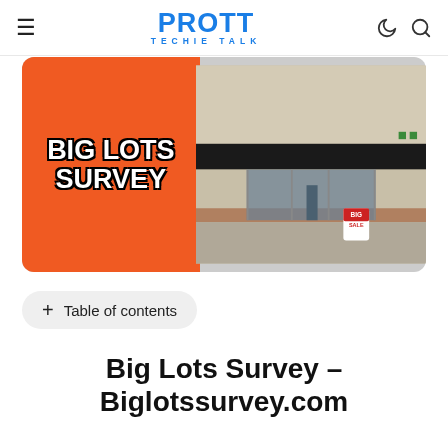PROTT TECHIE TALK
[Figure (photo): Hero image showing Big Lots Survey text on orange background on the left, and a Big Lots store exterior photo on the right with a 'Big Sale' sign in front.]
+ Table of contents
Big Lots Survey – Biglotssurvey.com